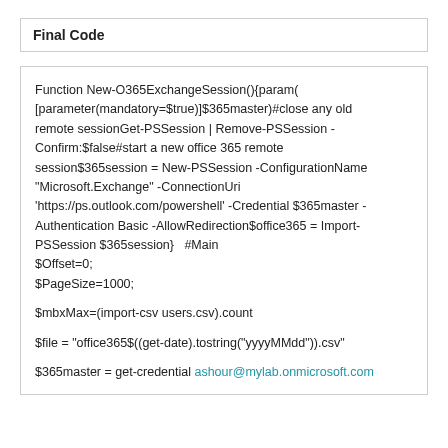Final Code
Function New-O365ExchangeSession(){param(
[parameter(mandatory=$true)]$365master)#close any old remote sessionGet-PSSession | Remove-PSSession -Confirm:$false#start a new office 365 remote session$365session = New-PSSession -ConfigurationName "Microsoft.Exchange" -ConnectionUri 'https://ps.outlook.com/powershell' -Credential $365master -Authentication Basic -AllowRedirection$office365 = Import-PSSession $365session}   #Main
$Offset=0;

$PageSize=1000;

$mbxMax=(import-csv users.csv).count

$file = "office365$((get-date).tostring("yyyyMMdd")).csv"

$365master = get-credential ashour@mylab.onmicrosoft.com